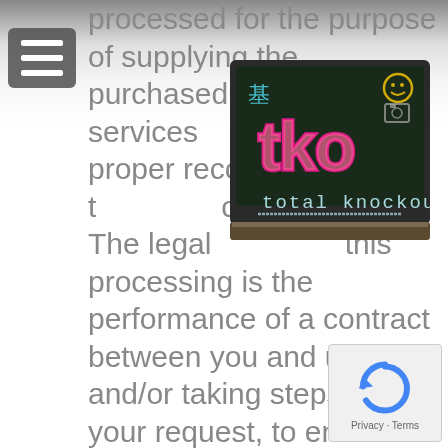[Figure (logo): Hamburger menu icon — three white horizontal bars on a dark rounded rectangle background]
processed for the purpose of supplying the purchased goods and services and keeping proper records of those transactions. The legal basis for this processing is the performance of a contract between you and us and/or taking steps, at your request, to enter into such a contract and our legitimate interests, namely our interest in the proper administration of our website and business. 3.7    We may process information contained in or
[Figure (logo): TKO Total Knockout logo — chalkboard style with colorful chalk lettering 'tko' and 'total knockout' on a dark blackboard graphic]
[Figure (logo): Google reCAPTCHA badge — circular arrow icon with 'Privacy · Terms' text below on a light grey rounded rectangle]